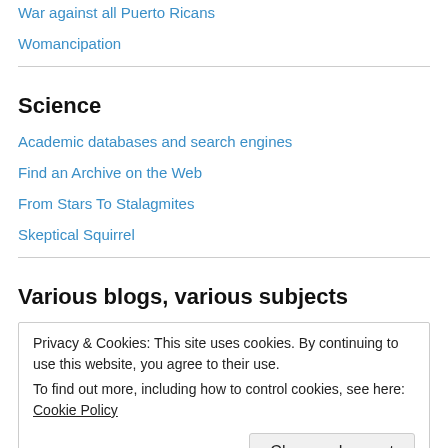War against all Puerto Ricans
Womancipation
Science
Academic databases and search engines
Find an Archive on the Web
From Stars To Stalagmites
Skeptical Squirrel
Various blogs, various subjects
Privacy & Cookies: This site uses cookies. By continuing to use this website, you agree to their use.
To find out more, including how to control cookies, see here: Cookie Policy
Close and accept
Mavadelo's mindscape